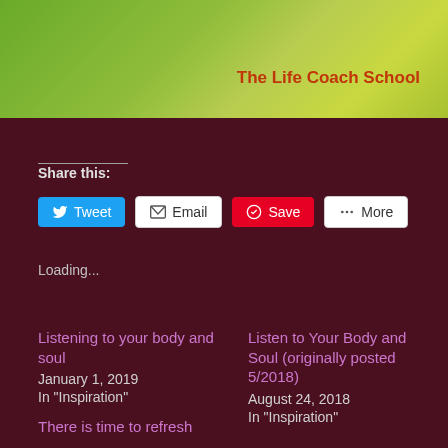[Figure (illustration): Green gradient header image for The Life Coach School blog]
The Life Coach School
Share this:
Tweet | Email | Save | More
Loading...
Listening to your body and soul
January 1, 2019
In "Inspiration"
Listen to Your Body and Soul (originally posted 5/2018)
August 24, 2018
In "Inspiration"
There is time to refresh